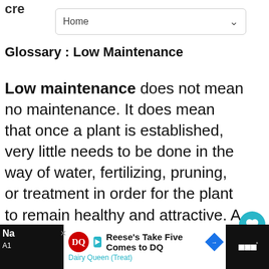cre
Glossary : Low Maintenance
Low maintenance does not mean no maintenance. It does mean that once a plant is established, very little needs to be done in the way of water, fertilizing, pruning, or treatment in order for the plant to remain healthy and attractive. A well-designed garden, which takes your lifestyle into consideration, can greatly reduce maintenance.
Glossary : Naturalizing
[Figure (screenshot): WHAT'S NEXT arrow label with Aquilegia (Dragonfly...) thumbnail]
[Figure (screenshot): Advertisement bar: Reese's Take Five Comes to DQ, Dairy Queen (Treat)]